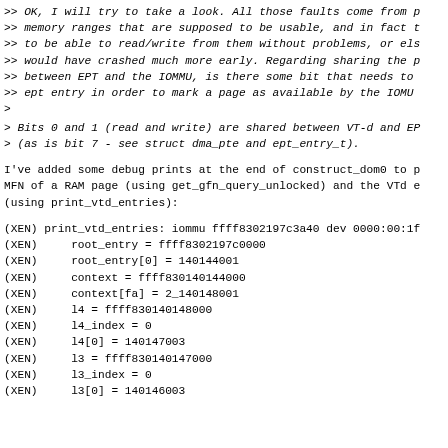>> OK, I will try to take a look. All those faults come from p
>> memory ranges that are supposed to be usable, and in fact t
>> to be able to read/write from them without problems, or els
>> would have crashed much more early. Regarding sharing the p
>> between EPT and the IOMMU, is there some bit that needs to
>> ept entry in order to mark a page as available by the IOMU
>
> Bits 0 and 1 (read and write) are shared between VT-d and EP
> (as is bit 7 - see struct dma_pte and ept_entry_t).
I've added some debug prints at the end of construct_dom0 to p
MFN of a RAM page (using get_gfn_query_unlocked) and the VTd e
(using print_vtd_entries):
(XEN) print_vtd_entries: iommu ffff8302197c3a40 dev 0000:00:1f
(XEN)     root_entry = ffff8302197c0000
(XEN)     root_entry[0] = 140144001
(XEN)     context = ffff830140144000
(XEN)     context[fa] = 2_140148001
(XEN)     l4 = ffff830140148000
(XEN)     l4_index = 0
(XEN)     l4[0] = 140147003
(XEN)     l3 = ffff830140147000
(XEN)     l3_index = 0
(XEN)     l3[0] = 140146003